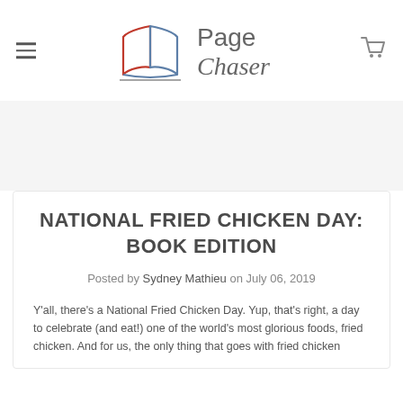[Figure (logo): Page Chaser logo with open book icon and brand name text]
NATIONAL FRIED CHICKEN DAY: BOOK EDITION
Posted by Sydney Mathieu on July 06, 2019
Y'all, there's a National Fried Chicken Day. Yup, that's right, a day to celebrate (and eat!) one of the world's most glorious foods, fried chicken. And for us, the only thing that goes with fried chicken